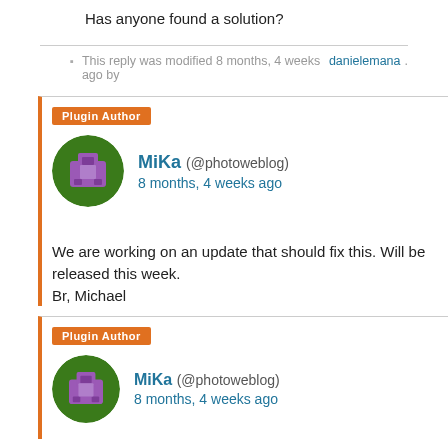Has anyone found a solution?
This reply was modified 8 months, 4 weeks ago by danielemana.
Plugin Author
MiKa (@photoweblog) 8 months, 4 weeks ago
We are working on an update that should fix this. Will be released this week.
Br, Michael
Plugin Author
MiKa (@photoweblog) 8 months, 4 weeks ago